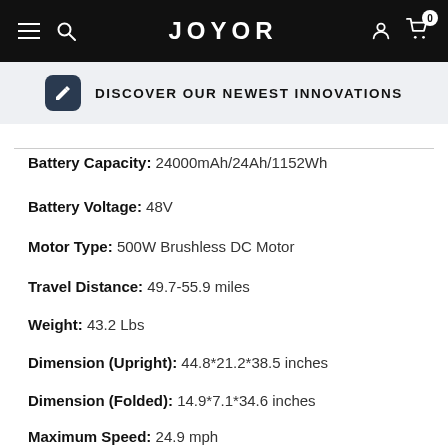JOYOR
[Figure (screenshot): JOYOR website navigation bar with hamburger menu, search icon, logo, user icon, and cart icon with 0 badge]
DISCOVER OUR NEWEST INNOVATIONS
Battery Capacity: 24000mAh/24Ah/1152Wh
Battery Voltage: 48V
Motor Type: 500W Brushless DC Motor
Travel Distance: 49.7-55.9 miles
Weight: 43.2 Lbs
Dimension (Upright): 44.8*21.2*38.5 inches
Dimension (Folded): 14.9*7.1*34.6 inches
Maximum Speed: 24.9 mph